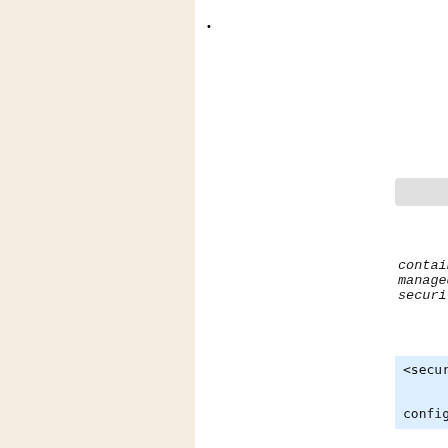• [hyperlink lines - navigation links]
[Figure (other): Gray navigation bar element]
container managed security
<security-constraint>
                <login-config>